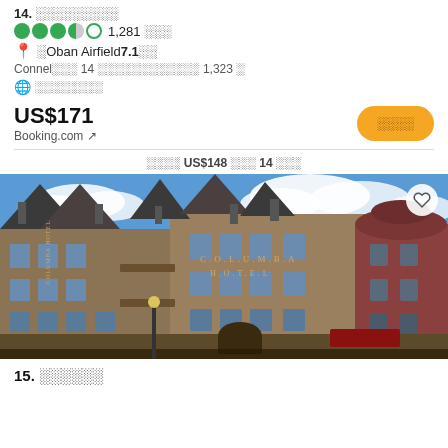14. ░░░░░░░░░
●●●●○ 1,281 ░░░
📍 ░Oban Airfield 7.1░░
Connel░░░ 14 ░░░░░░░░░░░░ 1,323 ░
🌐 ░░░░░░░░
US$171
Booking.com ↗
░░░░ US$148 ░░░ 14 ░░░
[Figure (photo): Photo of Columba Hotel, a large stone building with signage reading COLUMBA HOTEL, blue sky with clouds, red-brick tower on the right side]
15. ░░░░░░